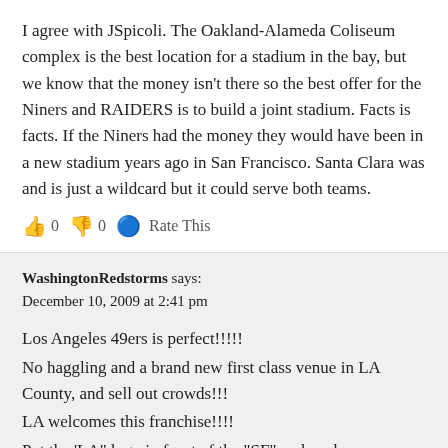I agree with JSpicoli. The Oakland-Alameda Coliseum complex is the best location for a stadium in the bay, but we know that the money isn't there so the best offer for the Niners and RAIDERS is to build a joint stadium. Facts is facts. If the Niners had the money they would have been in a new stadium years ago in San Francisco. Santa Clara was and is just a wildcard but it could serve both teams.
👍 0 👎 0 🔵 Rate This
WashingtonRedstorms says:
December 10, 2009 at 2:41 pm
Los Angeles 49ers is perfect!!!!!
No haggling and a brand new first class venue in LA County, and sell out crowds!!!
LA welcomes this franchise!!!!
Put the 'LA" logo in front of the "SF" and we have a winner!!